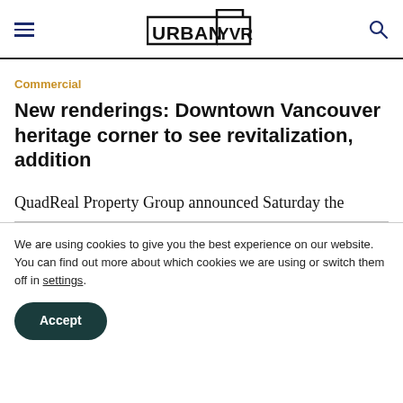UrbanYVR
Commercial
New renderings: Downtown Vancouver heritage corner to see revitalization, addition
QuadReal Property Group announced Saturday the
We are using cookies to give you the best experience on our website.
You can find out more about which cookies we are using or switch them off in settings.
Accept